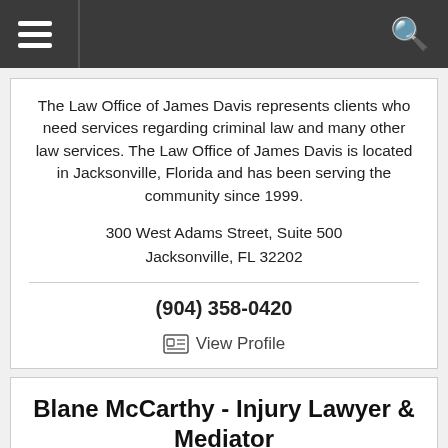The Law Office of James Davis represents clients who need services regarding criminal law and many other law services. The Law Office of James Davis is located in Jacksonville, Florida and has been serving the community since 1999.
300 West Adams Street, Suite 500
Jacksonville, FL 32202
(904) 358-0420
View Profile
Blane McCarthy - Injury Lawyer & Mediator
Accident and Injury, Personal Injury